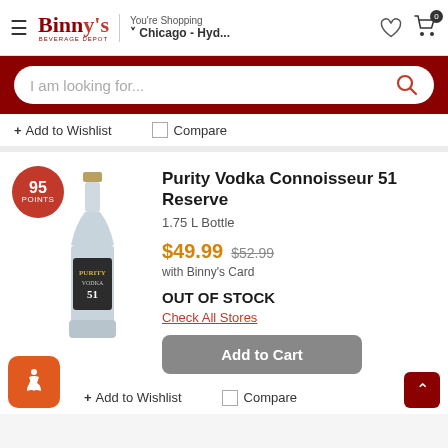Binny's Beverage Depot — You're Shopping Chicago - Hyd...
[Figure (screenshot): Search bar with placeholder text 'I am looking for...' and search icon on dark red background]
+ Add to Wishlist   Compare
Purity Vodka Connoisseur 51 Reserve
1.75 L Bottle
$49.99  $52.99 with Binny's Card
OUT OF STOCK
Check All Stores
[Figure (photo): Purity Vodka Connoisseur 51 bottle with 95 POINTS badge]
Add to Cart
+ Add to Wishlist   Compare